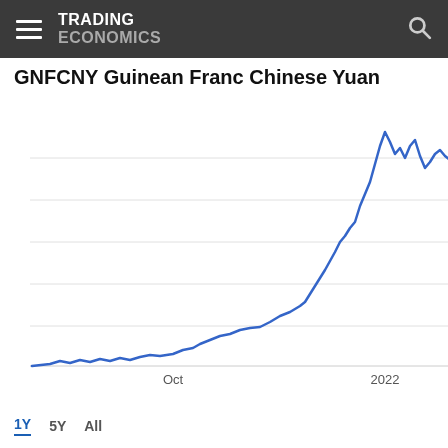TRADING ECONOMICS
GNFCNY Guinean Franc Chinese Yuan
[Figure (line-chart): Line chart showing GNFCNY exchange rate trending upward from ~0.000645 in Oct 2021 to ~0.000785 in Jul 2022, with a sharp rise in April-May 2022 and peak/plateau around 0.000790]
1Y  5Y  All